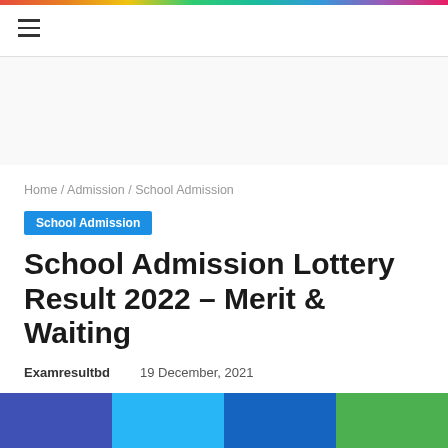≡
Home / Admission / School Admission
School Admission
School Admission Lottery Result 2022 – Merit & Waiting
Examresultbd   19 December, 2021